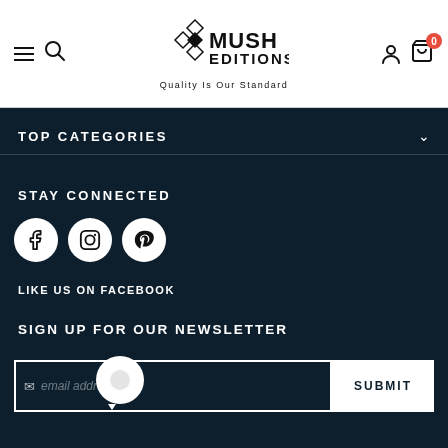MUSH EDITIONS — Quality Is Our Standard
TOP CATEGORIES
STAY CONNECTED
[Figure (illustration): Three social media icon circles: Facebook (f), Instagram (camera), Pinterest (p)]
LIKE US ON FACEBOOK
SIGN UP FOR OUR NEWSLETTER
email address  SUBMIT